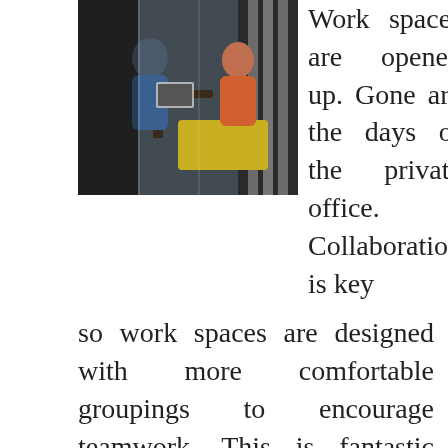[Figure (photo): Two people (a man and a woman) sitting and working in a modern co-working lounge space with large windows and yellow furniture.]
Work spaces are opened up. Gone are the days of the private office. Collaboration is key so work spaces are designed with more comfortable groupings to encourage teamwork. This is fantastic because we all know teamwork creates success and mental stimulation. Remember, the healthiest happiest societies are those where people are more (and more often) relational. You need a minute to